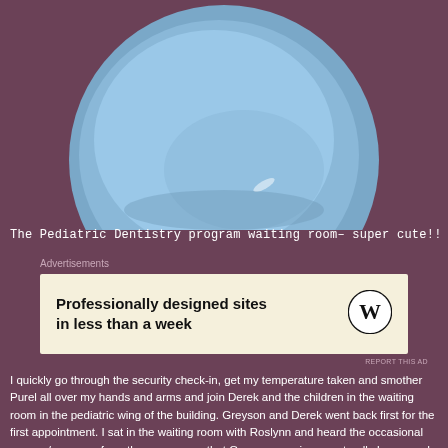[Figure (photo): A large blue circular shape resembling a pediatric dentistry waiting room decorative element, cropped circle on dark purple background]
The Pediatric Dentistry program waiting room– super cute!!
Advertisements
[Figure (other): Advertisement banner: Professionally designed sites in less than a week, with WordPress logo]
REPORT THIS AD
I quickly go through the security check-in, get my temperature taken and smother Purel all over my hands and arms and join Derek and the children in the waiting room in the pediatric wing of the building. Greyson and Derek went back first for the first appointment. I sat in the waiting room with Roslynn and heard the occasional scream/cry come from the exam room that Greyson was in, so naturally I assumed all was going well. Back story to why I really wanted to find a dentist that could manage an ASD child, was because Greyson injured his mouth/front two teeth back in early 2020, when he head butted the steps the entire way down from the top step, to the bottom (pre-helmet arrival). His front right tooth had been turning a gray-ish color after the injury, so we were really upset that Penn Medicine wasn't accepting new patients (due to COVID) from March until August. About 30 minutes later, Derek and Greyson come out of the exam room and into the waiting area, and